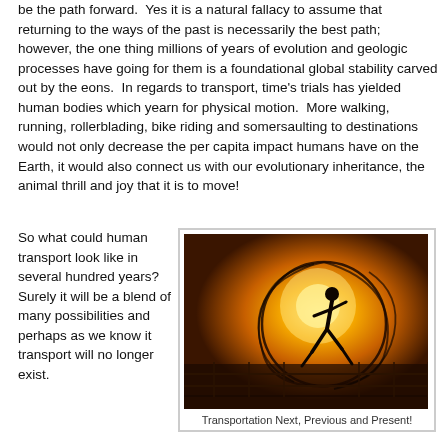be the path forward. Yes it is a natural fallacy to assume that returning to the ways of the past is necessarily the best path; however, the one thing millions of years of evolution and geologic processes have going for them is a foundational global stability carved out by the eons. In regards to transport, time's trials has yielded human bodies which yearn for physical motion. More walking, running, rollerblading, bike riding and somersaulting to destinations would not only decrease the per capita impact humans have on the Earth, it would also connect us with our evolutionary inheritance, the animal thrill and joy that it is to move!
So what could human transport look like in several hundred years? Surely it will be a blend of many possibilities and perhaps as we know it transport will no longer exist.
[Figure (photo): Silhouette of a person running at sunset with circular motion blur/spiral lines around them, on a waterfront walkway with railing visible. Orange and yellow sunset sky background.]
Transportation Next, Previous and Present!